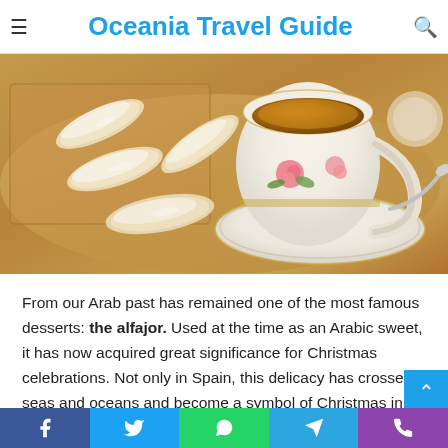Oceania Travel Guide
[Figure (photo): Powdered sugar-dusted alfajor cookies/biscuits on a burlap cloth next to a decorative floral teacup filled with coffee on a saucer]
From our Arab past has remained one of the most famous desserts: the alfajor. Used at the time as an Arabic sweet, it has now acquired great significance for Christmas celebrations. Not only in Spain, this delicacy has crossed seas and oceans and become a symbol of Christmas in South America. They are outstanding in its suitability as a great filli